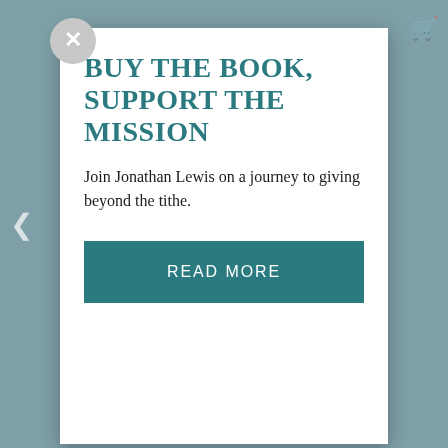BUY THE BOOK, SUPPORT THE MISSION
Join Jonathan Lewis on a journey to giving beyond the tithe.
READ MORE